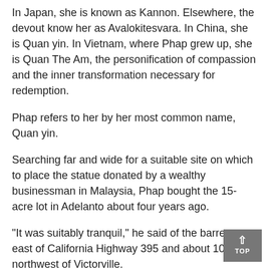In Japan, she is known as Kannon. Elsewhere, the devout know her as Avalokitesvara. In China, she is Quan yin. In Vietnam, where Phap grew up, she is Quan The Am, the personification of compassion and the inner transformation necessary for redemption.
Phap refers to her by her most common name, Quan yin.
Searching far and wide for a suitable site on which to place the statue donated by a wealthy businessman in Malaysia, Phap bought the 15-acre lot in Adelanto about four years ago.
"It was suitably tranquil," he said of the barren spot east of California Highway 395 and about 10 miles northwest of Victorville.
For local concrete contractor Gary Lucas, Quan yin and the wind-swept desert she towers above remain works in